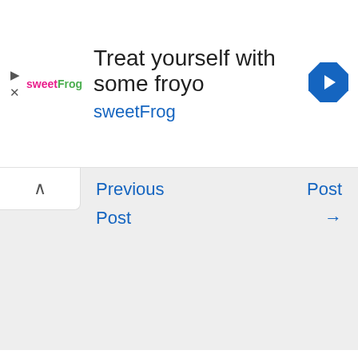[Figure (other): SweetFrog advertisement banner with logo, text 'Treat yourself with some froyo sweetFrog', and a blue navigation arrow icon]
Previous Post
Post →
Leave a Comment
Your email address will not be published. Required fields are marked *
Type here..